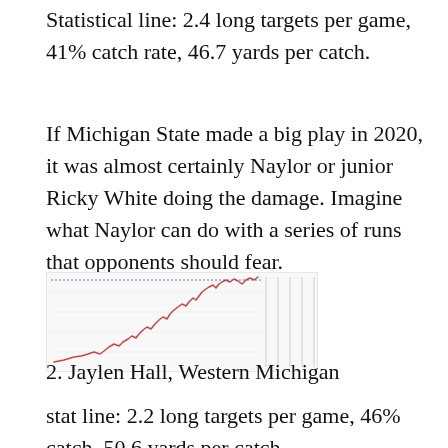Statistical line: 2.4 long targets per game, 41% catch rate, 46.7 yards per catch.
If Michigan State made a big play in 2020, it was almost certainly Naylor or junior Ricky White doing the damage. Imagine what Naylor can do with a series of runs that opponents should fear.
[Figure (continuous-plot): Small line chart showing an upward trending stock or statistical line, with a pink/red jagged line rising from lower left to upper right, and a grid on the right side.]
2. Jaylen Hall, Western Michigan
stat line: 2.2 long targets per game, 46% catch, 50.6 yards per catch.